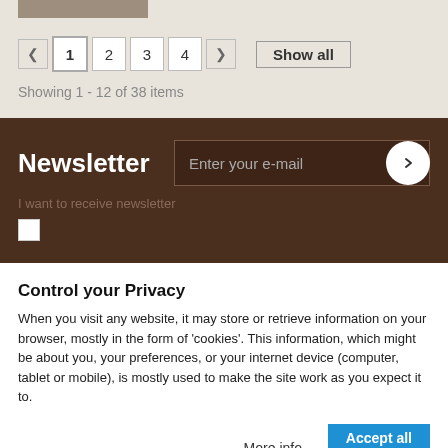[Figure (screenshot): Partial product image thumbnail at top]
< 1 2 3 4 > Show all
Showing 1 - 12 of 38 items
Newsletter
Enter your e-mail
I want to receive newsletter
Control your Privacy
When you visit any website, it may store or retrieve information on your browser, mostly in the form of 'cookies'. This information, which might be about you, your preferences, or your internet device (computer, tablet or mobile), is mostly used to make the site work as you expect it to.
More info
Accept all